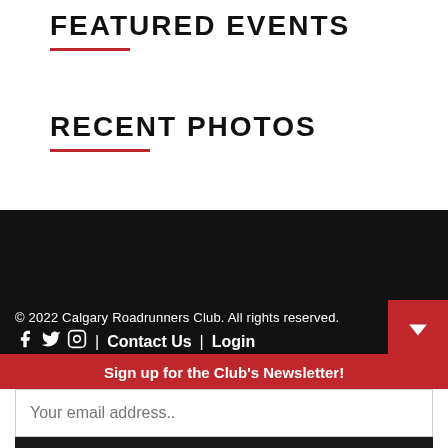FEATURED EVENTS
RECENT PHOTOS
© 2022 Calgary Roadrunners Club. All rights reserved.
f  |  Contact Us  |  Login
Sign up for the Club's Newsletter!
Your email address..
Subscribe